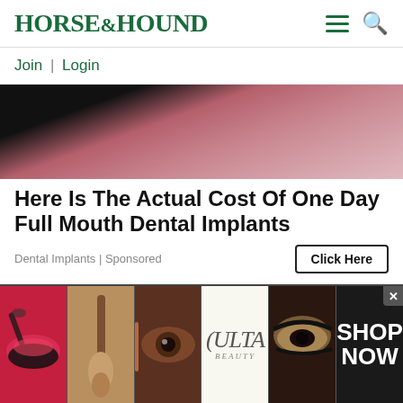HORSE&HOUND
Join | Login
[Figure (photo): Close-up photo of facial hair/beard stubble with pink/skin tones]
Here Is The Actual Cost Of One Day Full Mouth Dental Implants
Dental Implants | Sponsored
Click Here
[Figure (photo): Elderly person with white/blonde hair photographed from above]
[Figure (photo): Ulta Beauty advertisement banner with makeup imagery and SHOP NOW call to action]